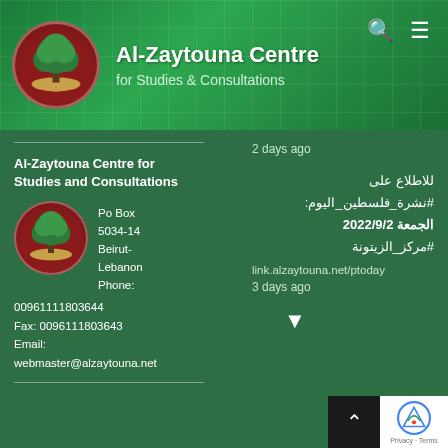[Figure (logo): Al-Zaytouna Centre logo with tree and Arabic text in circular emblem on green header background]
Al-Zaytouna Centre
for Studies & Consultations
2 days ago
Al-Zaytouna Centre for Studies and Consultations
Po Box 5034-14 Beirut-Lebanon Phone: 00961111803644 Fax: 0096111803643 Email: webmaster@alzaytouna.net
للاطلاع على #نشرة_فلسطين_اليوم: الجمعة 2022/9/2 #مركز_الزيتونة link.alzaytouna.net/ptoday 3 days ago